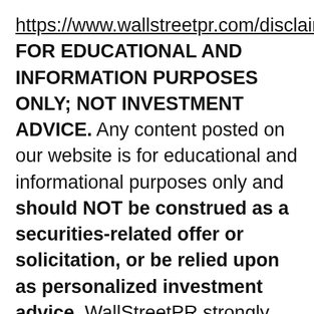https://www.wallstreetpr.com/disclaimer. FOR EDUCATIONAL AND INFORMATION PURPOSES ONLY; NOT INVESTMENT ADVICE. Any content posted on our website is for educational and informational purposes only and should NOT be construed as a securities-related offer or solicitation, or be relied upon as personalized investment advice. WallStreetPR strongly recommends you consult a licensed or registered professional before making any investment decision. Neither WallStreetPR.com nor any of its owners or employees is registered as a securities